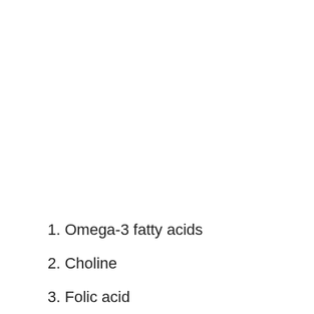1. Omega-3 fatty acids
2. Choline
3. Folic acid